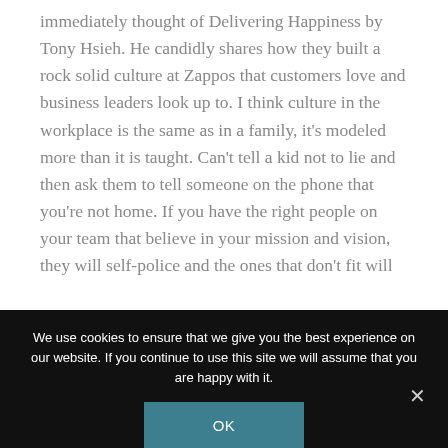immediately thought of Delivering Happiness by Tony Hsieh. He candidly shares how they built a rock solid culture at Zappos that customers love and business leaders look up to. I think culture in the workplace is the same as in a family, it's modeled more than it is taught. Can't tell a kid not to lie and then ask them to tell someone on the phone that you're not home. If you have the right people on your team that believe in your mission and vision, they will self-police and the ones that don't fit will
We use cookies to ensure that we give you the best experience on our website. If you continue to use this site we will assume that you are happy with it.